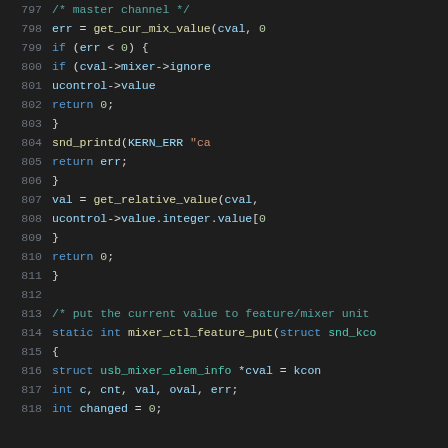[Figure (screenshot): Source code listing in a dark-themed code editor showing C code lines 797-818, including functions mixer_ctl_feature_get and mixer_ctl_feature_put with syntax highlighting in teal, blue, orange, and yellow on a dark background.]